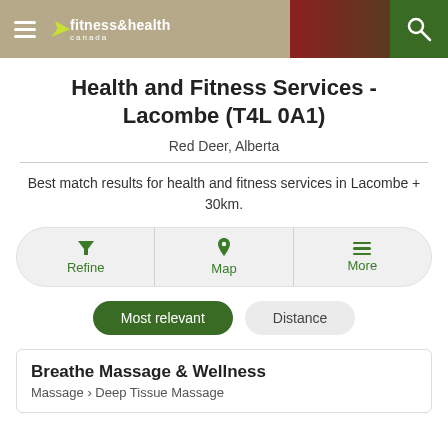fitness&health canada
Health and Fitness Services - Lacombe (T4L 0A1)
Red Deer, Alberta
Best match results for health and fitness services in Lacombe + 30km.
Refine | Map | More
Most relevant | Distance
Breathe Massage & Wellness
Massage › Deep Tissue Massage